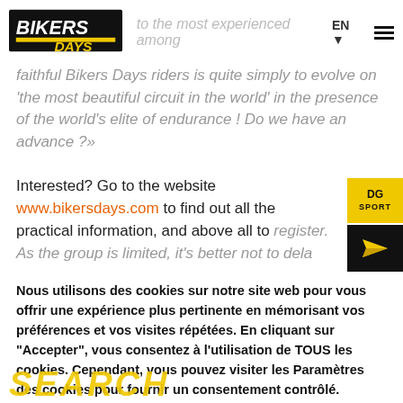BIKERS DAYS logo | to the most experienced among | EN ▼ ☰
faithful Bikers Days riders is quite simply to evolve on 'the most beautiful circuit in the world' in the presence of the world's elite of endurance ! Do we have an advance ?»
Interested? Go to the website www.bikersdays.com to find out all the practical information, and above all to register. As the group is limited, it's better not to dela…
Nous utilisons des cookies sur notre site web pour vous offrir une expérience plus pertinente en mémorisant vos préférences et vos visites répétées. En cliquant sur "Accepter", vous consentez à l'utilisation de TOUS les cookies. Cependant, vous pouvez visiter les Paramètres des cookies pour fournir un consentement contrôlé.
Paramètres des cookies | ACCEPTER
SEARCH